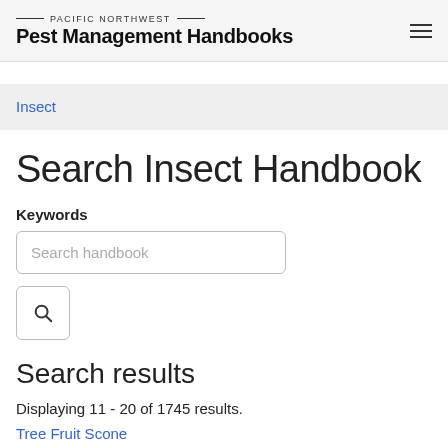PACIFIC NORTHWEST Pest Management Handbooks
Insect
Search Insect Handbook
Keywords
Search handbook
Search results
Displaying 11 - 20 of 1745 results.
Tree Fruit Scone